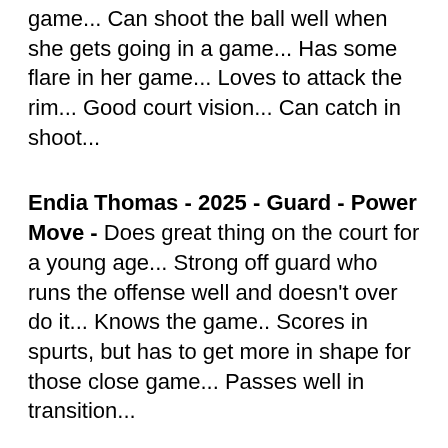game... Can shoot the ball well when she gets going in a game... Has some flare in her game... Loves to attack the rim... Good court vision... Can catch in shoot...
Endia Thomas - 2025 - Guard - Power Move - Does great thing on the court for a young age... Strong off guard who runs the offense well and doesn't over do it... Knows the game.. Scores in spurts, but has to get more in shape for those close game... Passes well in transition...
Kaelyn Carroll - 2025 - Wing / Forward - Baystate Jaguars - Skilled forward who at times has a guard mentality... Can defend and play multiple positions on the fly... Lanky with a huge wingspan... Rebounds... Mobile... Finishes when making a move... High prospect in her 25' class...
Kennedy Henry - 2025 - Wing - New Jersey Sparks - Her length and long arms are the keys to her game... Orthodox